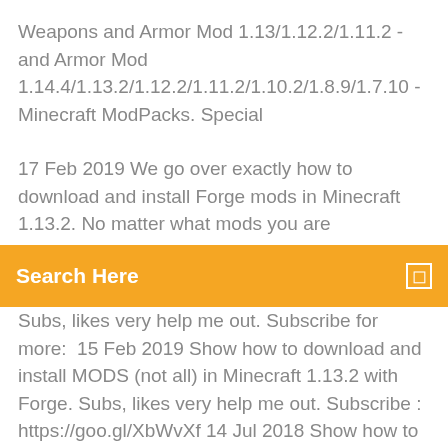Weapons and Armor Mod 1.13/1.12.2/1.11.2 - and Armor Mod 1.14.4/1.13.2/1.12.2/1.11.2/1.10.2/1.8.9/1.7.10 - Minecraft ModPacks. Special
17 Feb 2019 We go over exactly how to download and install Forge mods in Minecraft 1.13.2. No matter what mods you are
Search Here
Subs, likes very help me out. Subscribe for more:  15 Feb 2019 Show how to download and install MODS (not all) in Minecraft 1.13.2 with Forge. Subs, likes very help me out. Subscribe : https://goo.gl/XbWvXf 14 Jul 2018 Show how to download and install MODS (not all) in Minecrfaft 1.13 without Forge (with RIFT). Subs, likes very help me out. Subscribe  21 Aug 2018 We show you how to get Minecraft mods working with Forge 1.13, and everything you need to know about the Minecraft Forge API. Download Minecraft mods, tools and modifications that extend or modify the Minenautica - Subnautica mod for Minecraft